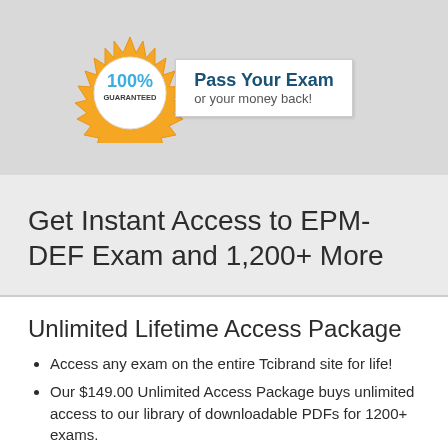[Figure (logo): Gold seal badge with '100% GUARANTEED' text and a white box saying 'Pass Your Exam or your money back!']
Get Instant Access to EPM-DEF Exam and 1,200+ More
Unlimited Lifetime Access Package
Access any exam on the entire Tcibrand site for life!
Our $149.00 Unlimited Access Package buys unlimited access to our library of downloadable PDFs for 1200+ exams.
You download the exam you need, and come back and download again when you need more. Your PDF is ready to read or print, and when there is an update, you can download the new version. Download one exam or all the